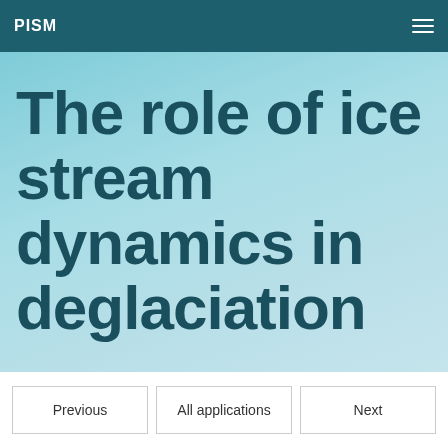PISM
The role of ice stream dynamics in deglaciation
Previous
All applications
Next